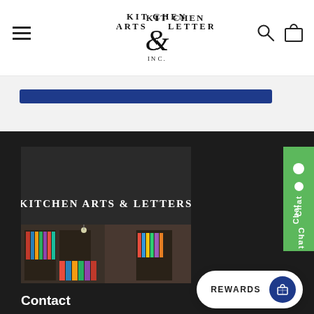Kitchen Arts & Letters Inc. — Navigation bar with hamburger menu, logo, search and cart icons
[Figure (screenshot): Kitchen Arts & Letters bookstore storefront photo with signage reading KITCHEN ARTS & LETTERS]
Contact
letters@kitchenartsandletters.co…